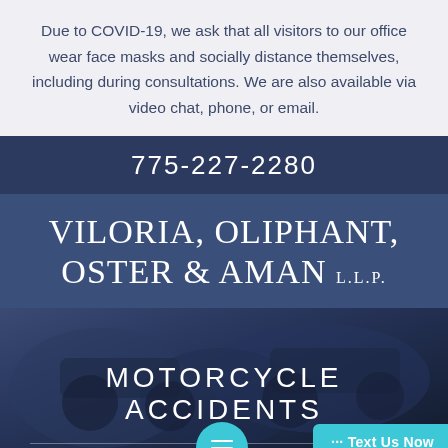Due to COVID-19, we ask that all visitors to our office wear face masks and socially distance themselves, including during consultations. We are also available via video chat, phone, or email.
775-227-2280
VILORIA, OLIPHANT, OSTER & AMAN L.L.P.
[Figure (photo): Dark photo of motorcycles with overlay text 'MOTORCYCLE ACCIDENTS' and a teal chat button and 'Text Us Now' button at the bottom]